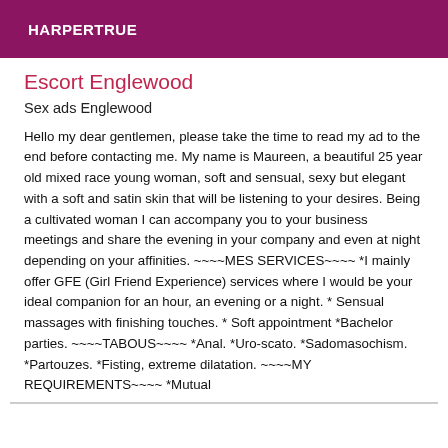HARPERTRUE
Escort Englewood
Sex ads Englewood
Hello my dear gentlemen, please take the time to read my ad to the end before contacting me. My name is Maureen, a beautiful 25 year old mixed race young woman, soft and sensual, sexy but elegant with a soft and satin skin that will be listening to your desires. Being a cultivated woman I can accompany you to your business meetings and share the evening in your company and even at night depending on your affinities. ~~~~MES SERVICES~~~~ *I mainly offer GFE (Girl Friend Experience) services where I would be your ideal companion for an hour, an evening or a night. * Sensual massages with finishing touches. * Soft appointment *Bachelor parties. ~~~~TABOUS~~~~ *Anal. *Uro-scato. *Sadomasochism. *Partouzes. *Fisting, extreme dilatation. ~~~~MY REQUIREMENTS~~~~ *Mutual